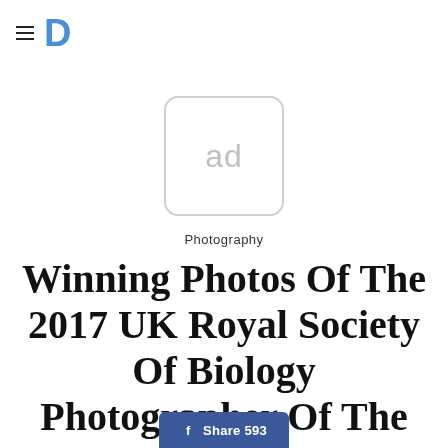≡ D
[Figure (other): Advertisement placeholder box with 'ad' text inside rounded rectangle]
Photography
Winning Photos Of The 2017 UK Royal Society Of Biology Photographer Of The Year